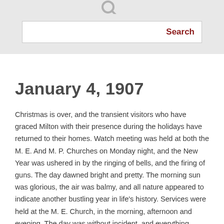[Figure (screenshot): Search bar UI with a search icon at the top and a white input box with a dark red 'Search' button label on the right, set against a light gray background.]
January 4, 1907
Christmas is over, and the transient visitors who have graced Milton with their presence during the holidays have returned to their homes. Watch meeting was held at both the M. E. And M. P. Churches on Monday night, and the New Year was ushered in by the ringing of bells, and the firing of guns. The day dawned bright and pretty. The morning sun was glorious, the air was balmy, and all nature appeared to indicate another bustling year in life's history. Services were held at the M. E. Church, in the morning, afternoon and evening. The day was without incident, and everything